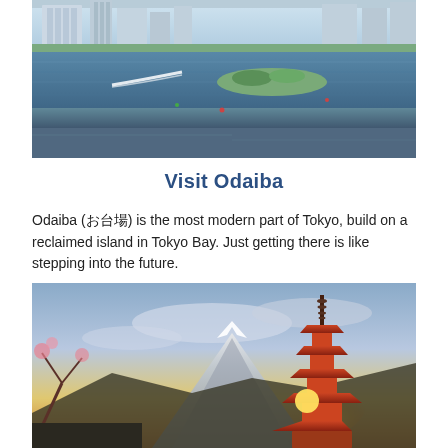[Figure (photo): Aerial view of Tokyo Bay waterfront with modern buildings skyline, water with boats and jet skis, and a small green island in the middle distance]
Visit Odaiba
Odaiba (お台場) is the most modern part of Tokyo, build on a reclaimed island in Tokyo Bay. Just getting there is like stepping into the future.
[Figure (photo): Japanese pagoda (Chureito Pagoda) with Mount Fuji in the background at sunset, dramatic sky with clouds and warm golden light]